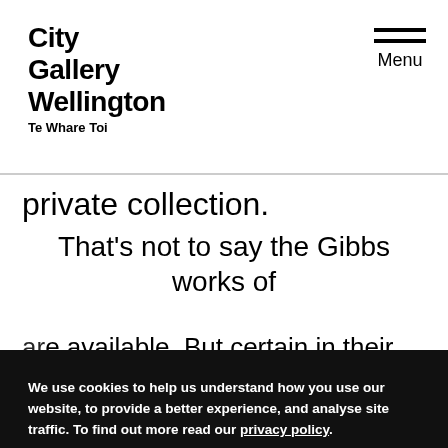City Gallery Wellington Te Whare Toi — Menu
private collection.
That's not to say the Gibbs works of
We use cookies to help us understand how you use our website, to provide a better experience, and analyse site traffic. To find out more read our privacy policy. Whakamahia ai mātou ngā pihikete ki te rapu māramatanga ki te āhua o tō whakamahi i tēnei pae tukutuku, ki te whakapai hoki i tō whai wāhi mai, me te tātari i ngā manuhiri o te pae tukutuku. Ki te rapu kōrero anō pānuitia te kaupaphere tūmataiti.
Accept and close